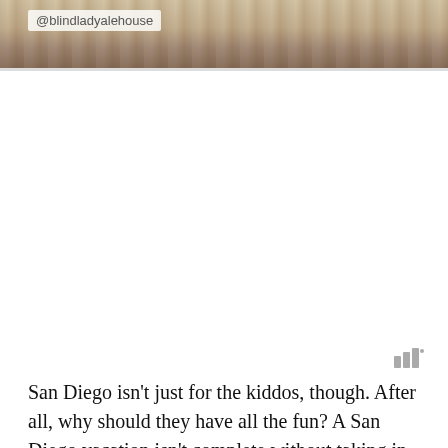[Figure (photo): Partial photo showing wooden or wicker texture with warm brown tones, with a white overlay tag reading @blindladyalehouse]
@blindladyalehouse
San Diego isn't just for the kiddos, though. After all, why should they have all the fun? A San Diego vacation isn't complete without taking in the impressive nightlife that we